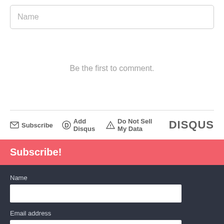Name
Be the first to comment.
Subscribe  Add Disqus  Do Not Sell My Data
DISQUS
Subscribe!
Name
Email address
Age